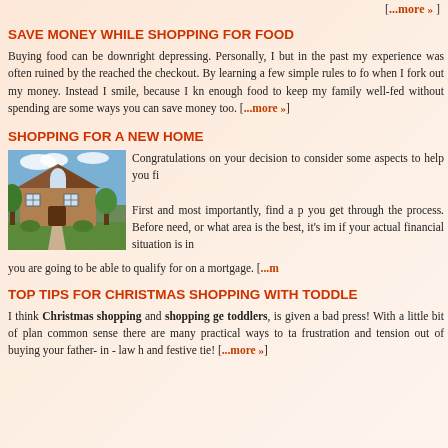[...more »]
SAVE MONEY WHILE SHOPPING FOR FOOD
Buying food can be downright depressing. Personally, I but in the past my experience was often ruined by the reached the checkout. By learning a few simple rules to fo when I fork out my money. Instead I smile, because I kn enough food to keep my family well-fed without spending are some ways you can save money too. [...more »]
SHOPPING FOR A NEW HOME
[Figure (photo): Photo of a suburban two-story brick house with green lawn and trees]
Congratulations on your decision to consider some aspects to help you fi First and most importantly, find a p you get through the process. Before need, or what area is the best, it's im if your actual financial situation is in you are going to be able to qualify for on a mortgage. [...m
TOP TIPS FOR CHRISTMAS SHOPPING WITH TODDLE
I think Christmas shopping and shopping ge toddlers, is given a bad press! With a little bit of plan common sense there are many practical ways to ta frustration and tension out of buying your father- in - law h and festive tie! [...more »]